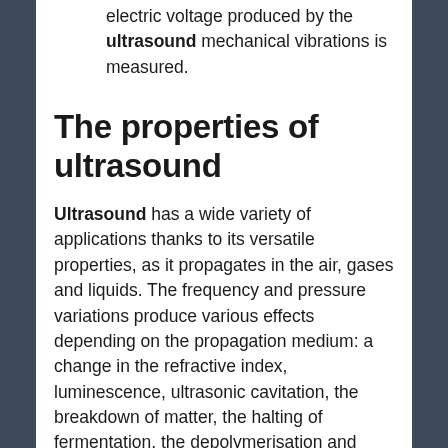electric voltage produced by the ultrasound mechanical vibrations is measured.
The properties of ultrasound
Ultrasound has a wide variety of applications thanks to its versatile properties, as it propagates in the air, gases and liquids. The frequency and pressure variations produce various effects depending on the propagation medium: a change in the refractive index, luminescence, ultrasonic cavitation, the breakdown of matter, the halting of fermentation, the depolymerisation and fragmentation of molecules, etc. Although these terms look obscure, they explain how